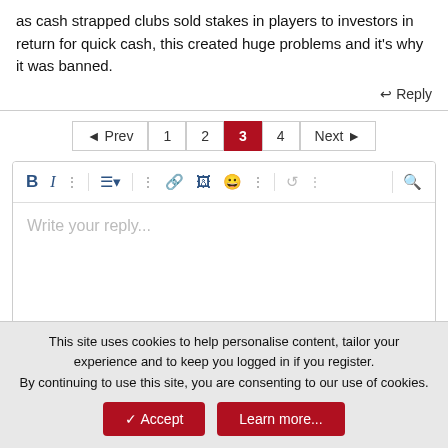as cash strapped clubs sold stakes in players to investors in return for quick cash, this created huge problems and it's why it was banned.
↩ Reply
[Figure (screenshot): Pagination control showing: Prev, 1, 2, 3 (active/highlighted in red), 4, Next]
[Figure (screenshot): Text editor toolbar with Bold, Italic, and various formatting icons, followed by a text area with placeholder 'Write your reply...']
Post reply
This site uses cookies to help personalise content, tailor your experience and to keep you logged in if you register.
By continuing to use this site, you are consenting to our use of cookies.
✓ Accept   Learn more...